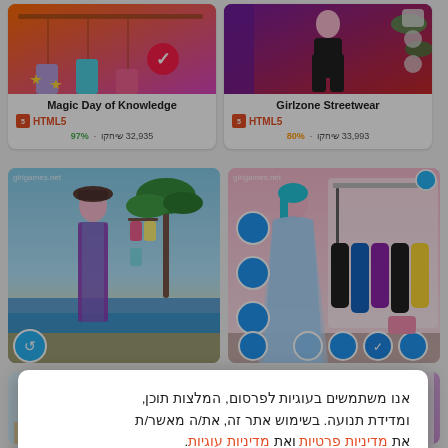[Figure (screenshot): Magic Day of Knowledge game thumbnail - colorful dress-up game with orange/purple background]
Magic Day of Knowledge
HTML5
97% · 32,935 שיחקו
[Figure (screenshot): Girlzone Streetwear game thumbnail - fashion game with dark purple/red background]
Girlzone Streetwear
HTML5
80% · 33,993 שיחקו
[Figure (screenshot): Beach fashion dress-up game thumbnail with girl in summer outfit on beach]
[Figure (screenshot): Princess dress-up game thumbnail with girl in blue gown in pink dressing room]
אנו משתמשים בעוגיות לפרסום, המלצות תוכן, ומדידת תנועה. בשימוש אתר זה, את/ה מאשר/ת את מדיניות פרטיות ואת מדיניות עוגיות.
הבנתי